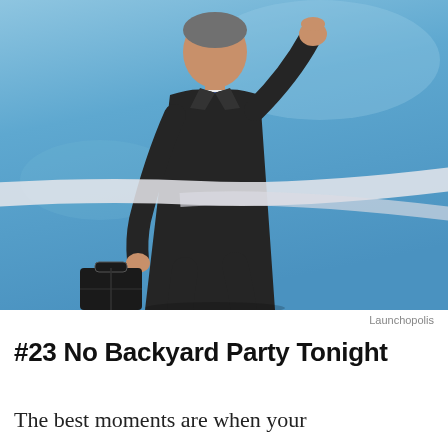[Figure (photo): Low-angle photo of a businessman in a dark suit, holding a briefcase in his left hand and raising his right fist in triumph, breaking through a white ribbon finish line against a blue sky background.]
Launchopolis
#23 No Backyard Party Tonight
The best moments are when your